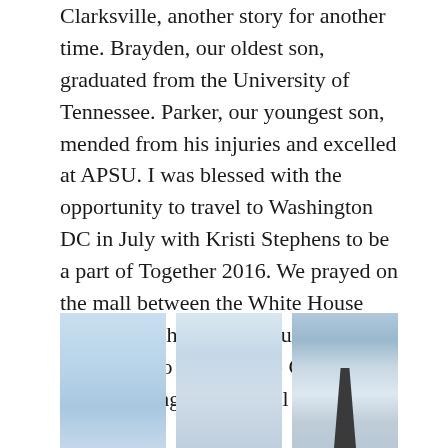Clarksville, another story for another time. Brayden, our oldest son, graduated from the University of Tennessee. Parker, our youngest son, mended from his injuries and excelled at APSU. I was blessed with the opportunity to travel to Washington DC in July with Kristi Stephens to be a part of Together 2016. We prayed on the mall between the White House and the Washington Monument for our nation to turn back to God and for the upcoming presidential election.
[Figure (photo): Three side-by-side photos: first shows a pale blue sky, second shows a sky with light clouds, third shows the tip of the Washington Monument against a cloudy sky.]